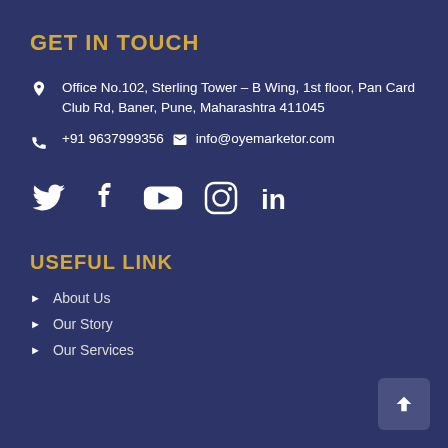GET IN TOUCH
Office No.102, Sterling Tower – B Wing, 1st floor, Pan Card Club Rd, Baner, Pune, Maharashtra 411045
+91 9637999356   info@oyemarketor.com
[Figure (infographic): Social media icons: Twitter, Facebook, YouTube, Instagram, LinkedIn]
USEFUL LINK
About Us
Our Story
Our Services